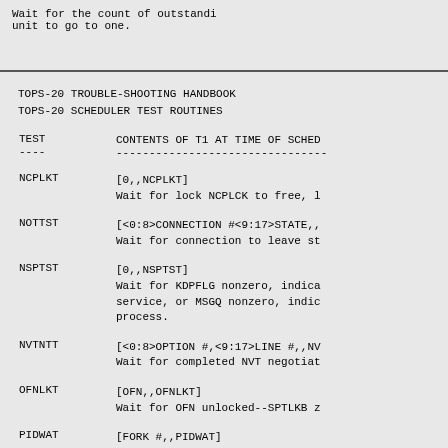Wait for the count of outstanding unit to go to one.
TOPS-20 TROUBLE-SHOOTING HANDBOOK
TOPS-20 SCHEDULER TEST ROUTINES
| TEST | CONTENTS OF T1 AT TIME OF SCHED |
| --- | --- |
| NCPLKT | [0,,NCPLKT]
Wait for lock NCPLCK to free, l |
| NOTTST | [<0:8>CONNECTION #<9:17>STATE,,
Wait for connection to leave st |
| NSPTST | [0,,NSPTST]
Wait for KDPFLG nonzero, indica service, or MSGQ nonzero, indic process. |
| NVTNTT | [<0:8>OPTION #,<9:17>LINE #,,NV
Wait for completed NVT negotiat |
| OFNLKT | [OFN,,OFNLKT]
Wait for OFN unlocked--SPTLKB z |
| PIDWAT | [FORK #,,PIDWAT] |